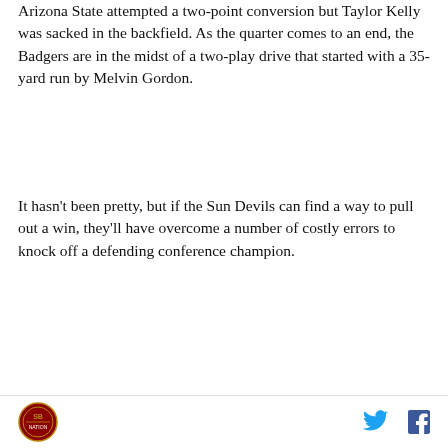Arizona State attempted a two-point conversion but Taylor Kelly was sacked in the backfield. As the quarter comes to an end, the Badgers are in the midst of a two-play drive that started with a 35-yard run by Melvin Gordon.
It hasn't been pretty, but if the Sun Devils can find a way to pull out a win, they'll have overcome a number of costly errors to knock off a defending conference champion.
[Figure (other): DraftKings Sportsbook advertisement widget showing Arizona State Sun Devils betting option with green header bar containing 'Bet Now!' button and DraftKings Sportsbook logo.]
Arizona State Sun Devils logo | Twitter icon | Facebook icon